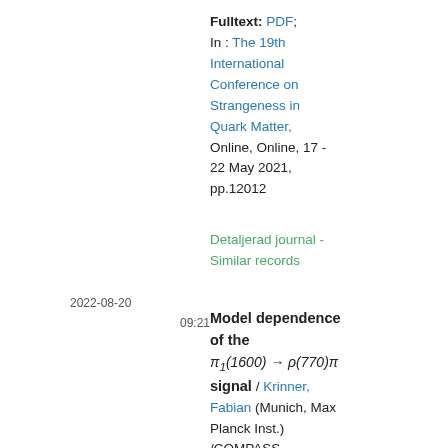Fulltext: PDF; In : The 19th International Conference on Strangeness in Quark Matter, Online, Online, 17 - 22 May 2021, pp.12012
Detaljerad journal - Similar records
2022-08-20  09:21
Model dependence of the π₁(1600) → ρ(770)π signal / Krinner, Fabian (Munich, Max Planck Inst.) /COMPASS